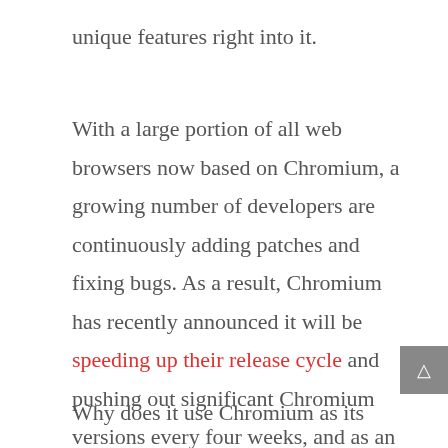unique features right into it.
With a large portion of all web browsers now based on Chromium, a growing number of developers are continuously adding patches and fixing bugs. As a result, Chromium has recently announced it will be speeding up their release cycle and pushing out significant Chromium versions every four weeks, and as an end-user you'll get frequent security patches and platform updates to keep you up-to-date.
Why does it use Chromium as its